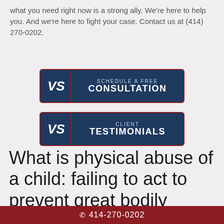what you need right now is a strong ally.  We're here to help you.  And we're here to fight your case.  Contact us at (414) 270-0202.
[Figure (other): Button with VS logo: SCHEDULE A FREE CONSULTATION on dark navy background with dark red border]
[Figure (other): Button with VS logo: CLIENT TESTIMONIALS on dark navy background with dark red border]
What is physical abuse of a child: failing to act to prevent great bodily harm?
📱 414-270-0202